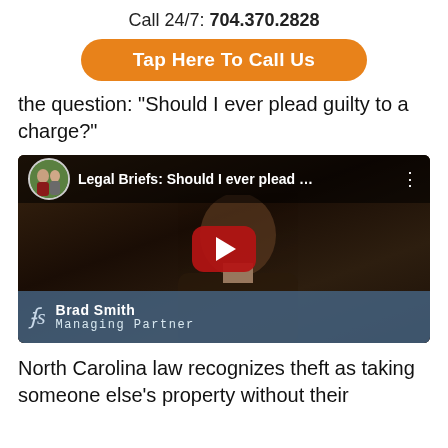Call 24/7: 704.370.2828
Tap Here To Call Us
the question: "Should I ever plead guilty to a charge?"
[Figure (screenshot): YouTube video thumbnail showing Brad Smith, Managing Partner, with title 'Legal Briefs: Should I ever plead ...' and a red play button overlay]
North Carolina law recognizes theft as taking someone else's property without their